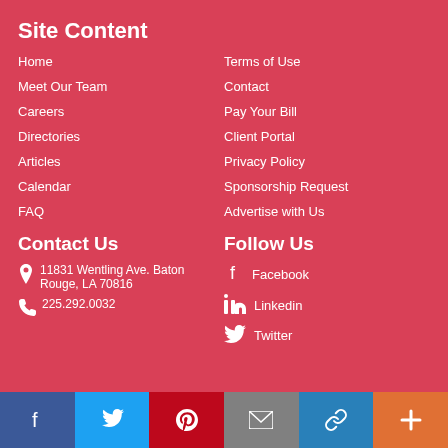Site Content
Home
Terms of Use
Meet Our Team
Contact
Careers
Pay Your Bill
Directories
Client Portal
Articles
Privacy Policy
Calendar
Sponsorship Request
FAQ
Advertise with Us
Contact Us
11831 Wentling Ave. Baton Rouge, LA 70816
225.292.0032
Follow Us
Facebook
Linkedin
Twitter